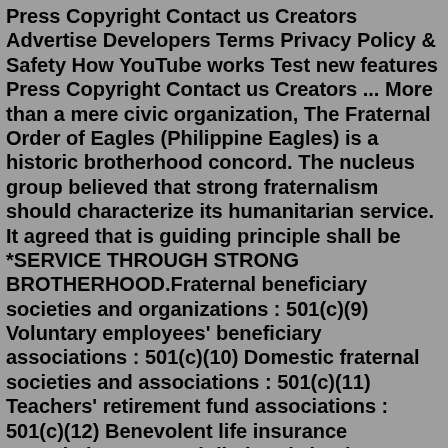Press Copyright Contact us Creators Advertise Developers Terms Privacy Policy & Safety How YouTube works Test new features Press Copyright Contact us Creators ... More than a mere civic organization, The Fraternal Order of Eagles (Philippine Eagles) is a historic brotherhood concord. The nucleus group believed that strong fraternalism should characterize its humanitarian service. It agreed that is guiding principle shall be *SERVICE THROUGH STRONG BROTHERHOOD.Fraternal beneficiary societies and organizations : 501(c)(9) Voluntary employees' beneficiary associations : 501(c)(10) Domestic fraternal societies and associations : 501(c)(11) Teachers' retirement fund associations : 501(c)(12) Benevolent life insurance associations, mutual ditch or irrigation companies, mutual or cooperative telephone ... Magna Carta of The Fraternal Order of Eagles - (Philippine Eagles) by 1910, elks done away with almost all of the ritual — including secret handshakes and passwords — and settled into the function they held for much of the